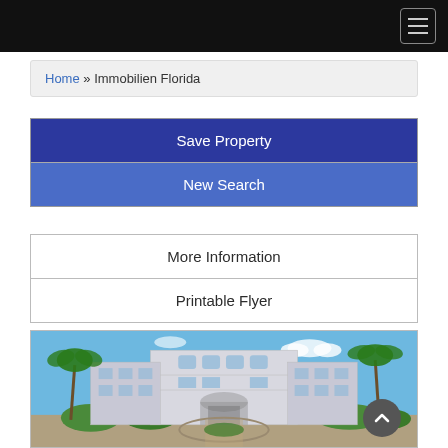Navigation bar with hamburger menu
Home » Immobilien Florida
Save Property
New Search
More Information
Printable Flyer
[Figure (photo): Exterior photo of a white multi-story Florida condominium building with palm trees, arched entrance, circular driveway, and tropical landscaping under a clear blue sky.]